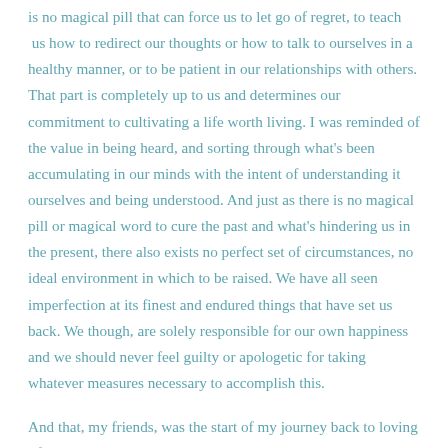is no magical pill that can force us to let go of regret, to teach us how to redirect our thoughts or how to talk to ourselves in a healthy manner, or to be patient in our relationships with others. That part is completely up to us and determines our commitment to cultivating a life worth living. I was reminded of the value in being heard, and sorting through what's been accumulating in our minds with the intent of understanding it ourselves and being understood. And just as there is no magical pill or magical word to cure the past and what's hindering us in the present, there also exists no perfect set of circumstances, no ideal environment in which to be raised. We have all seen imperfection at its finest and endured things that have set us back. We though, are solely responsible for our own happiness and we should never feel guilty or apologetic for taking whatever measures necessary to accomplish this.
And that, my friends, was the start of my journey back to loving life.